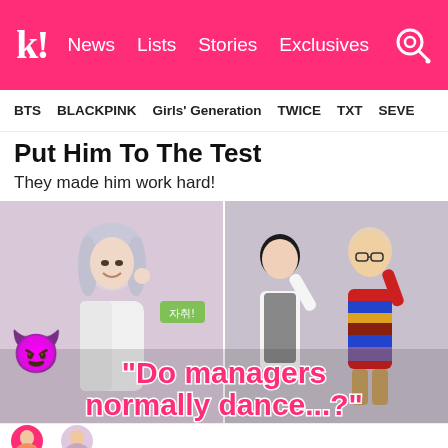k! News Lists Stories Exclusives
BTS  BLACKPINK  Girls' Generation  TWICE  TXT  SEVE
Put Him To The Test
They made him work hard!
[Figure (photo): Left: A young woman with silver/gray hair smiling, wearing a white cardigan. Right: Two people in a room, one woman in a gray vest and white top, another person in a colorful striped sweater, both doing saluting/gesturing poses. Overlaid text reads: 'Do managers normally dance...?' with a devil emoji.]